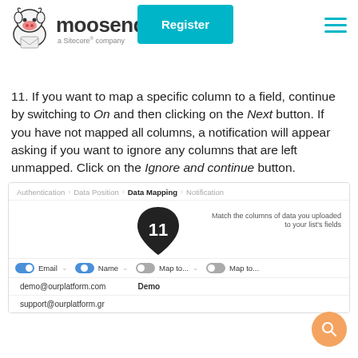[Figure (logo): Moosend logo with cow mascot and 'a Sitecore company' subtitle, plus Register button and hamburger menu]
11. If you want to map a specific column to a field, continue by switching to On and then clicking on the Next button. If you have not mapped all columns, a notification will appear asking if you want to ignore any columns that are left unmapped. Click on the Ignore and continue button.
[Figure (screenshot): Data mapping UI showing step bar (Authentication, Data Position, Data Mapping, Notification), a numbered badge '11', match columns description text, field rows with Email and Name toggles and Map to dropdowns, and data rows with demo@ourplatform.com/Demo and support@ourplatform.gr]